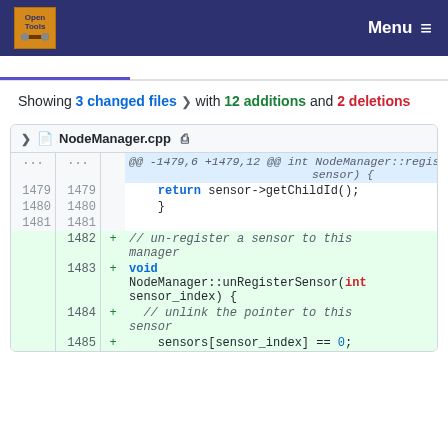Open Tools | Menu
Showing 3 changed files with 12 additions and 2 deletions
NodeManager.cpp
| old | new | + | code |
| --- | --- | --- | --- |
| ... | ... |  | @@ -1479,6 +1479,12 @@ int NodeManager::registerSensor(Sensor* sensor) { |
| 1479 | 1479 |  |     return sensor->getChildId(); |
| 1480 | 1480 |  |     } |
| 1481 | 1481 |  |  |
|  | 1482 | + | // un-register a sensor to this manager |
|  | 1483 | + | void NodeManager::unRegisterSensor(int sensor_index) { |
|  | 1484 | + |   // unlink the pointer to this sensor |
|  | 1485 | + |     sensors[sensor_index] == 0; |